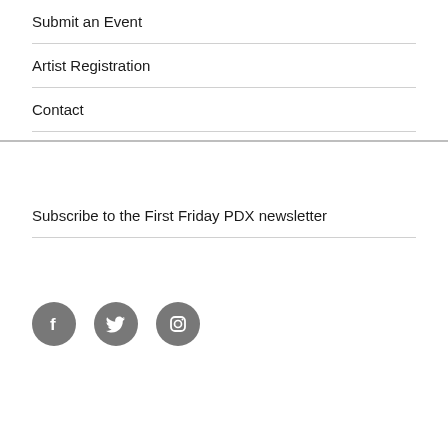Submit an Event
Artist Registration
Contact
Subscribe to the First Friday PDX newsletter
[Figure (illustration): Three circular social media icon buttons (Facebook, Twitter, Instagram) in dark gray]